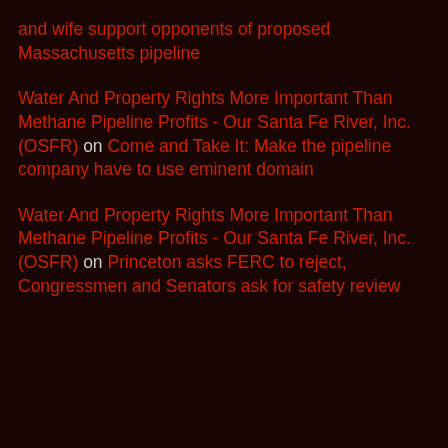and wife support opponents of proposed Massachusetts pipeline
Water And Property Rights More Important Than Methane Pipeline Profits - Our Santa Fe River, Inc. (OSFR) on Come and Take It: Make the pipeline company have to use eminent domain
Water And Property Rights More Important Than Methane Pipeline Profits - Our Santa Fe River, Inc. (OSFR) on Princeton asks FERC to reject, Congressmen and Senators ask for safety review